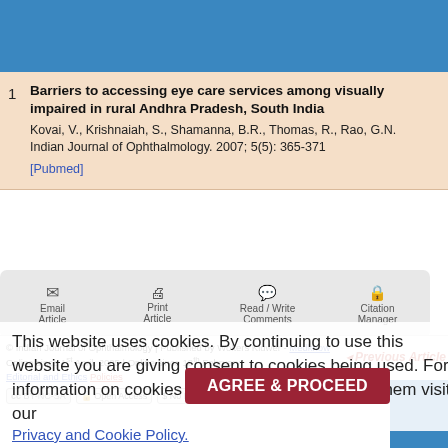1  Barriers to accessing eye care services among visually impaired in rural Andhra Pradesh, South India
Kovai, V., Krishnaiah, S., Shamanna, B.R., Thomas, R., Rao, G.N.
Indian Journal of Ophthalmology. 2007; 5(5): 365-371
[Pubmed]
[Figure (screenshot): Toolbar with Email Article, Print Article, Read/Write Comments, Citation Manager buttons (semi-transparent)]
This website uses cookies. By continuing to use this website you are giving consent to cookies being used. For information on cookies and how you can disable them visit our
Privacy and Cookie Policy.
Previous Article
AGREE & PROCEED
© Indian Journal of Ophthalmology | Published by Wolters Kluwer - Medknow Online since 1st April, 2005 | Online since 18th February
Editorial and Ethics Policies
[cc] BY-NC-SA  Open Access  $ No Fee  View mobile site